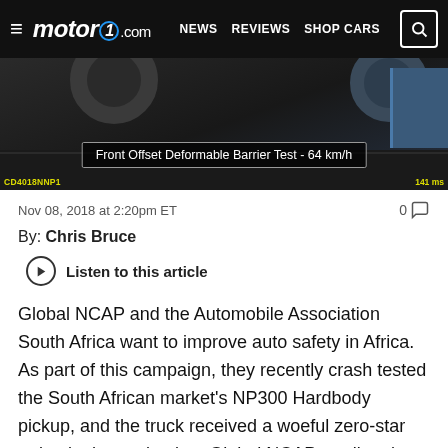motor1.com  NEWS  REVIEWS  SHOP CARS
[Figure (photo): Crash test video still showing a car underside with tires visible, dark background. Caption badge reads: Front Offset Deformable Barrier Test - 64 km/h. Bottom-left tag: CD4018NNP1. Bottom-right tag: 141 ms]
Nov 08, 2018 at 2:20pm ET
By: Chris Bruce
Listen to this article
Global NCAP and the Automobile Association South Africa want to improve auto safety in Africa. As part of this campaign, they recently crash tested the South African market's NP300 Hardbody pickup, and the truck received a woeful zero-star rating in the evaluation. Global NCAP predicted adults riding in the